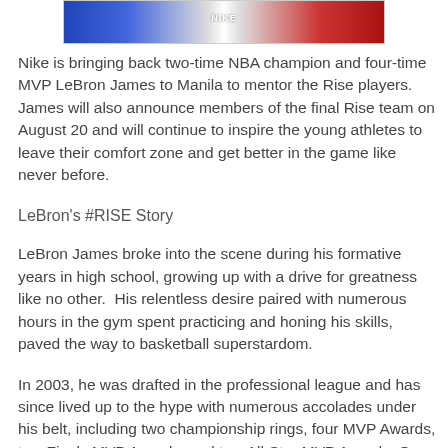[Figure (photo): Partial image of a Nike-branded banner with red and blue colors, likely featuring LeBron James branding for the Nike Rise campaign.]
Nike is bringing back two-time NBA champion and four-time MVP LeBron James to Manila to mentor the Rise players. James will also announce members of the final Rise team on August 20 and will continue to inspire the young athletes to leave their comfort zone and get better in the game like never before.
LeBron's #RISE Story
LeBron James broke into the scene during his formative years in high school, growing up with a drive for greatness like no other.  His relentless desire paired with numerous hours in the gym spent practicing and honing his skills, paved the way to basketball superstardom.
In 2003, he was drafted in the professional league and has since lived up to the hype with numerous accolades under his belt, including two championship rings, four MVP Awards, two Finals MVP Awards, and two All-Star MVP Awards. On a global scale, he was the centerpiece of two Olympic Gold